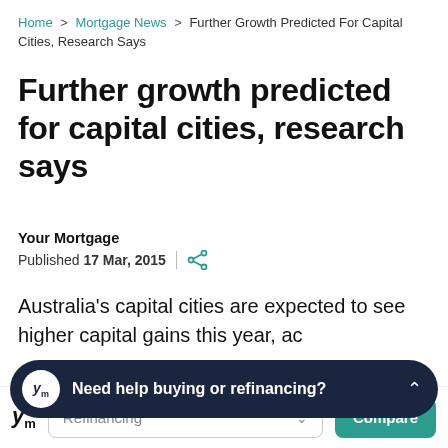Home > Mortgage News > Further Growth Predicted For Capital Cities, Research Says
Further growth predicted for capital cities, research says
Your Mortgage
Published 17 Mar, 2015
Australia's capital cities are expected to see higher capital gains this year, ac... Group.
[Figure (other): Overlay banner with Your Mortgage logo and text 'Need help buying or refinancing?' with a chevron up icon]
Refinancing  Compare